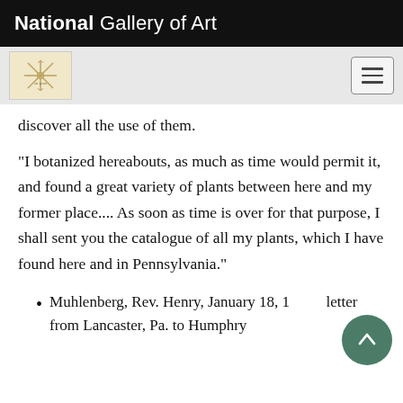National Gallery of Art
discover all the use of them.
"I botanized hereabouts, as much as time would permit it, and found a great variety of plants between here and my former place.... As soon as time is over for that purpose, I shall sent you the catalogue of all my plants, which I have found here and in Pennsylvania."
Muhlenberg, Rev. Henry, January 18, 1... letter from Lancaster, Pa. to Humphry Marshall (Darlington, 1849, 375–76)[22]